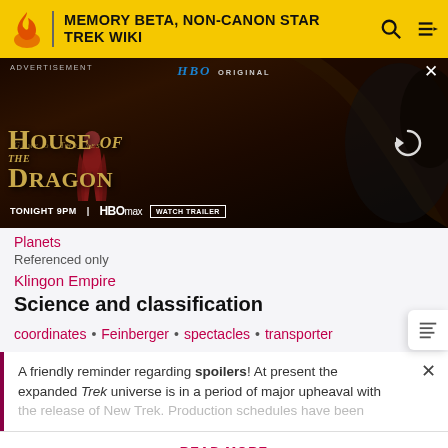MEMORY BETA, NON-CANON STAR TREK WIKI
[Figure (screenshot): HBO Original advertisement for House of the Dragon (Game of Thrones), Tonight 9PM, HBOmax, Watch Trailer button. Shows a woman in red against a dark dragon background.]
Planets
Referenced only
Klingon Empire
Science and classification
coordinates • Feinberger • spectacles • transporter
A friendly reminder regarding spoilers! At present the expanded Trek universe is in a period of major upheaval with
READ MORE